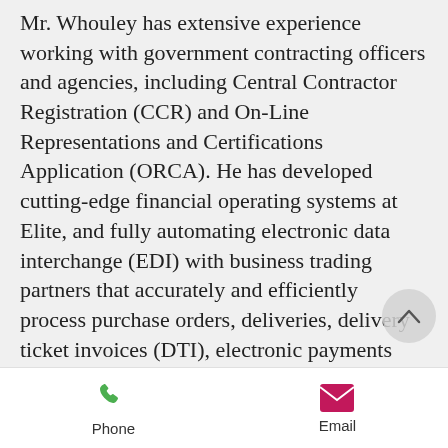Mr. Whouley has extensive experience working with government contracting officers and agencies, including Central Contractor Registration (CCR) and On-Line Representations and Certifications Application (ORCA). He has developed cutting-edge financial operating systems at Elite, and fully automating electronic data interchange (EDI) with business trading partners that accurately and efficiently process purchase orders, deliveries, delivery ticket invoices (DTI), electronic payments (EFT) and price transmissions. He is responsible for maintaining strong relationships with Elite's banking and investment providers, vendor partners, and distributor network to